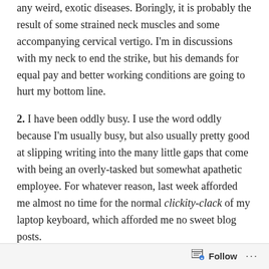any weird, exotic diseases. Boringly, it is probably the result of some strained neck muscles and some accompanying cervical vertigo. I'm in discussions with my neck to end the strike, but his demands for equal pay and better working conditions are going to hurt my bottom line.
2. I have been oddly busy. I use the word oddly because I'm usually busy, but also usually pretty good at slipping writing into the many little gaps that come with being an overly-tasked but somewhat apathetic employee. For whatever reason, last week afforded me almost no time for the normal clickity-clack of my laptop keyboard, which afforded me no sweet blog posts.
3. I wanted to see how I felt if I didn't post. I love writing, and love posting here, and love taking pictures for the posts, and love checking my stats, and love reading all of your hilarious comments, and love seeing what insane crap spammers are able to slip by Akismet this week. But at times, I felt like I was forcing stuff out the proverbial door just for the sake
Follow ...